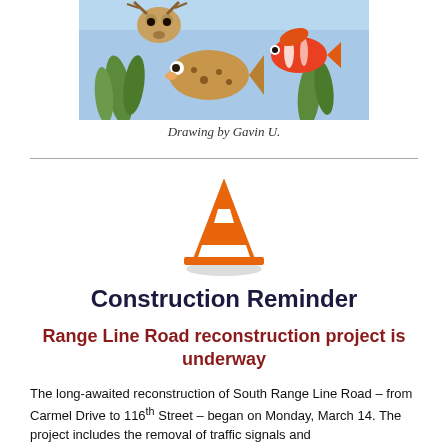[Figure (illustration): Child's drawing of underwater scene with fish, including a clownfish and other sea creatures with green seaweed on a blue background.]
Drawing by Gavin U.
[Figure (illustration): Orange and white traffic construction cone icon.]
Construction Reminder
Range Line Road reconstruction project is underway
The long-awaited reconstruction of South Range Line Road – from Carmel Drive to 116th Street – began on Monday, March 14. The project includes the removal of traffic signals and